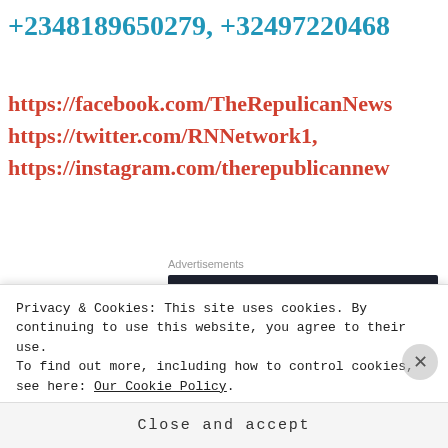+2348189650279, +32497220468
https://facebook.com/TheRepulicanNews, https://twitter.com/RNNetwork1, https://instagram.com/therepublicannew
Advertisements
[Figure (screenshot): Sensei advertisement: 'Launch your online course with WordPress' on dark background]
Privacy & Cookies: This site uses cookies. By continuing to use this website, you agree to their use. To find out more, including how to control cookies, see here: Our Cookie Policy
Close and accept